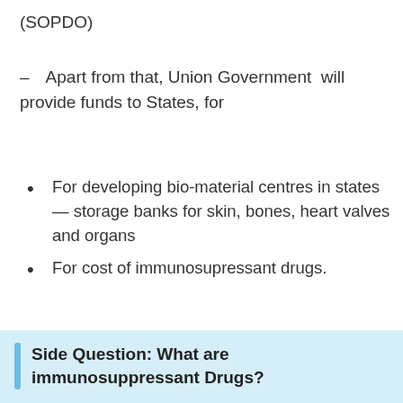(SOPDO)
– Apart from that, Union Government will provide funds to States, for
For developing bio-material centres in states — storage banks for skin, bones, heart valves and organs
For cost of immunosupressant drugs.
Side Question: What are immunosuppressant Drugs?